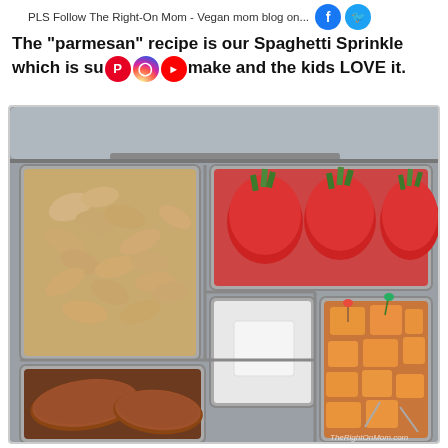PLS Follow The Right-On Mom - Vegan mom blog on...
The "parmesan" recipe is our Spaghetti Sprinkle which is super easy to make and the kids LOVE it.
[Figure (photo): A metal bento lunchbox with multiple compartments containing cashews, strawberries, a white cube (tofu/cheese), cantaloupe chunks with toothpick flags, and breaded items (tempeh/nuggets).]